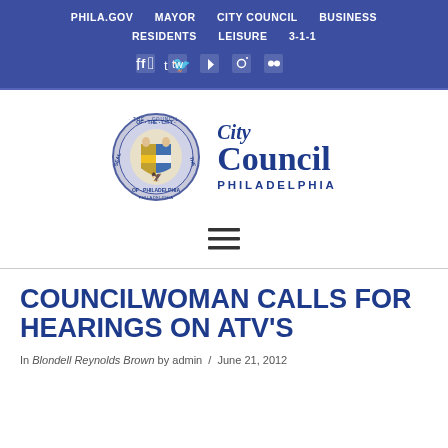PHILA.GOV   MAYOR   CITY COUNCIL   BUSINESS   RESIDENTS   LEISURE   3-1-1
[Figure (logo): Philadelphia City Council seal and logo with text 'City Council Philadelphia']
[Figure (other): Hamburger menu icon (three horizontal lines)]
COUNCILWOMAN CALLS FOR HEARINGS ON ATV'S
In Blondell Reynolds Brown by admin / June 21, 2012